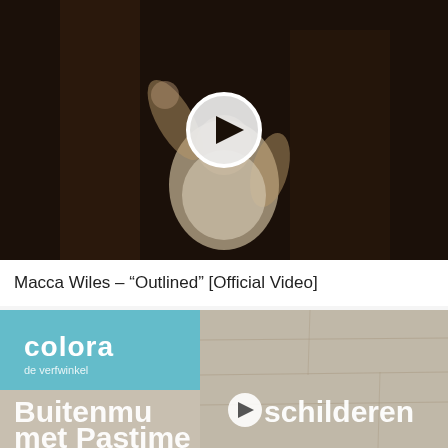[Figure (screenshot): Video thumbnail showing a person in a dark room wearing a white tank top with arm raised, with a circular play button overlay in the center.]
Macca Wiles – “Outlined” [Official Video]
[Figure (screenshot): Video thumbnail showing a Colora de verfwinkel logo on a teal background, with text 'Buitenmu(play button)schilderen met Pastime' in large white letters over a textured wall background with a paint brush.]